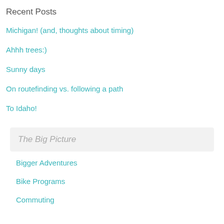Recent Posts
Michigan! (and, thoughts about timing)
Ahhh trees:)
Sunny days
On routefinding vs. following a path
To Idaho!
The Big Picture
Bigger Adventures
Bike Programs
Commuting